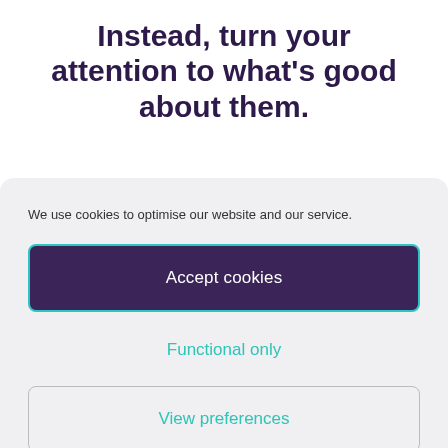Instead, turn your attention to what’s good about them.
We use cookies to optimise our website and our service.
Accept cookies
Functional only
View preferences
Cookie Policy